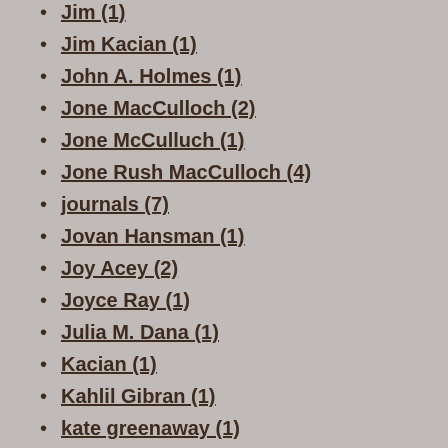Jim (1)
Jim Kacian (1)
John A. Holmes (1)
Jone MacCulloch (2)
Jone McCulluch (1)
Jone Rush MacCulloch (4)
journals (7)
Jovan Hansman (1)
Joy Acey (2)
Joyce Ray (1)
Julia M. Dana (1)
Kacian (1)
Kahlil Gibran (1)
kate greenaway (1)
Ken Burns (1)